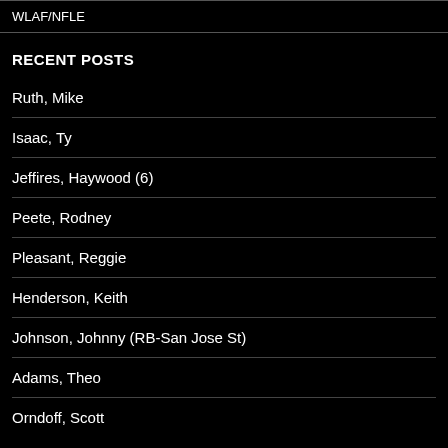WLAF/NFLE
RECENT POSTS
Ruth, Mike
Isaac, Ty
Jeffires, Haywood (6)
Peete, Rodney
Pleasant, Reggie
Henderson, Keith
Johnson, Johnny (RB-San Jose St)
Adams, Theo
Orndoff, Scott